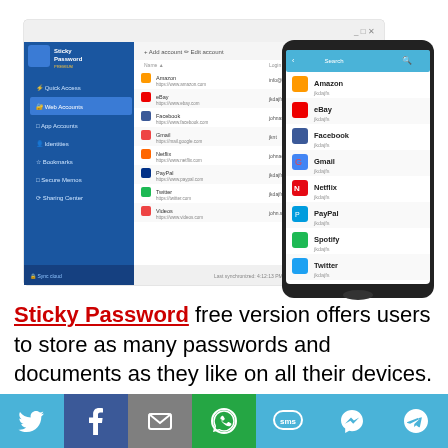[Figure (screenshot): Sticky Password premium desktop application interface showing web accounts list (Amazon, eBay, Facebook, Gmail, Netflix, PayPal, Spotify, Twitter) alongside a smartphone showing mobile app with same accounts listed]
Sticky Password free version offers users to store as many passwords and documents as they like on all their devices. Supports all devices and platforms including, Mac, iOS,